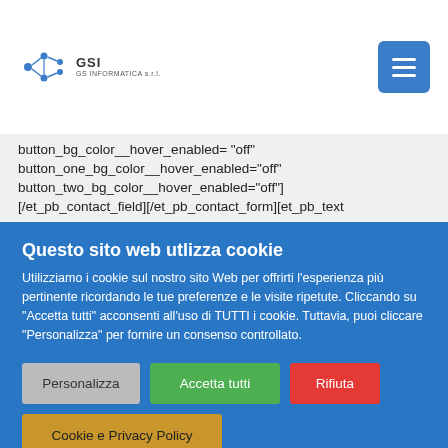[Figure (logo): GSI GS Informatica s.r.l. logo with stylized network/gear icon on the left and text on the right]
button_bg_color__hover_enabled= "off" button_one_bg_color__hover_enabled="off" button_two_bg_color__hover_enabled="off"] [/et_pb_contact_field][/et_pb_contact_form][et_pb_text _builder_version="4.4.3" transform_translate="54px|76px"
Questo sito web utlizza cookie
Utilizziamo i cookie sul nostro sito Web per offrirti l'esperienza più pertinente ricordando le tue preferenze e le visite ripetute. Cliccando su "Accetta tutti" acconsenti all'uso di TUTTI i cookie. Tuttavia, puoi cliccare "Personalizza" per fornire un consenso controllato.
Personalizza
Accetta tutti
Rifiuta
Cookie e Privacy Policy